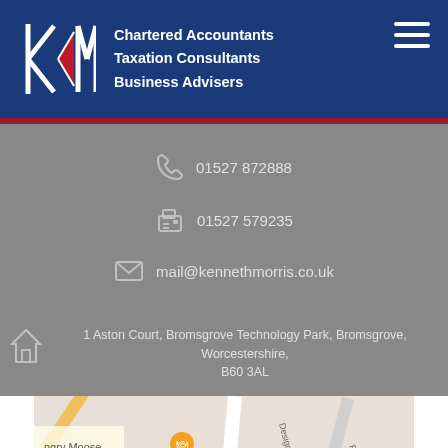[Figure (logo): KM Chartered Accountants logo with red triangle shape and white K and M letters on blue background]
Chartered Accountants
Taxation Consultants
Business Advisers
01527 872888
01527 579235
mail@kennethmorris.co.uk
1 Aston Court, Bromsgrove Technology Park, Bromsgrove, Worcestershire, B60 3AL
[Figure (map): Google Maps screenshot showing Bromsgrove Technology Park area with Screwfix Bromsgrove marker and Maids Mere Cot visible, streets including Design Cl, Railway Walk, George Rd, Aston Rd shown]